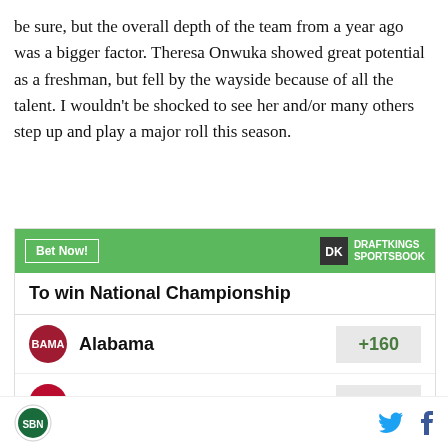be sure, but the overall depth of the team from a year ago was a bigger factor. Theresa Onwuka showed great potential as a freshman, but fell by the wayside because of all the talent. I wouldn't be shocked to see her and/or many others step up and play a major roll this season.
[Figure (other): DraftKings Sportsbook betting widget showing odds to win National Championship: Alabama +160, Georgia +300]
SB Nation logo, Twitter icon, Facebook icon